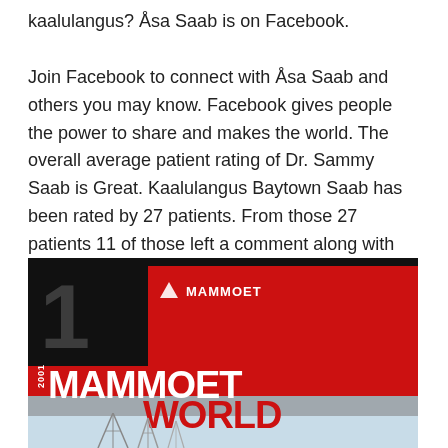kaalulangus? Åsa Saab is on Facebook.

Join Facebook to connect with Åsa Saab and others you may know. Facebook gives people the power to share and makes the world. The overall average patient rating of Dr. Sammy Saab is Great. Kaalulangus Baytown Saab has been rated by 27 patients. From those 27 patients 11 of those left a comment along with their rating.
[Figure (illustration): Cover of Mammoet World 2001 magazine. Red and black design with large number 1 and white MAMMOET WORLD text. Bottom portion shows construction cranes against a light blue sky.]